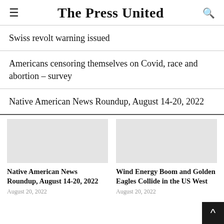The Press United
Swiss revolt warning issued
Americans censoring themselves on Covid, race and abortion – survey
Native American News Roundup, August 14-20, 2022
Native American News Roundup, August 14-20, 2022
August 20, 2022
Wind Energy Boom and Golden Eagles Collide in the US West
August 20, 2022